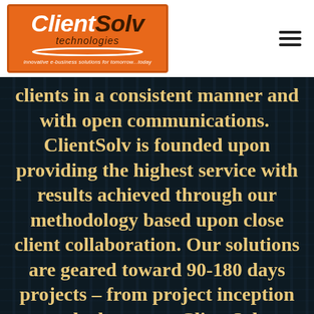[Figure (logo): ClientSolv Technologies logo on orange background with tagline 'innovative e-business solutions for tomorrow...today']
clients in a consistent manner and with open communications.  ClientSolv is founded upon providing the highest service with results achieved through our methodology based upon close client collaboration. Our solutions are geared toward 90-180 days projects – from project inception to deployment.  ClientSolv provides a full-range of IT services to our clients. Our services include Contract